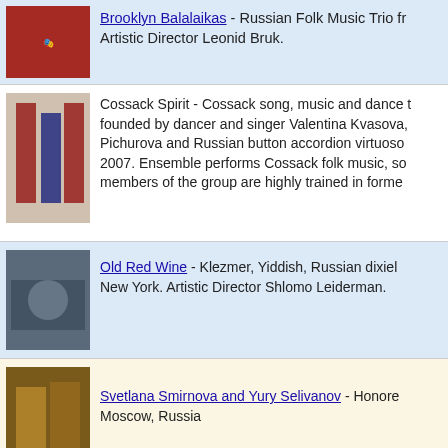Brooklyn Balalaikas - Russian Folk Music Trio from New York. Artistic Director Leonid Bruk.
Cossack Spirit - Cossack song, music and dance troupe founded by dancer and singer Valentina Kvasova, Pichurova and Russian button accordion virtuoso 2007. Ensemble performs Cossack folk music, so members of the group are highly trained in former
Old Red Wine - Klezmer, Yiddish, Russian dixiel New York. Artistic Director Shlomo Leiderman.
Svetlana Smirnova and Yury Selivanov - Honored Moscow, Russia
Kalinka Duo - Sergey Vashchenko- balalaika, Vla Austin, TX